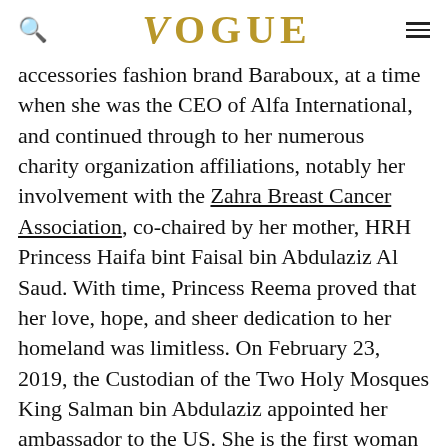VOGUE
accessories fashion brand Baraboux, at a time when she was the CEO of Alfa International, and continued through to her numerous charity organization affiliations, notably her involvement with the Zahra Breast Cancer Association, co-chaired by her mother, HRH Princess Haifa bint Faisal bin Abdulaziz Al Saud. With time, Princess Reema proved that her love, hope, and sheer dedication to her homeland was limitless. On February 23, 2019, the Custodian of the Two Holy Mosques King Salman bin Abdulaziz appointed her ambassador to the US. She is the first woman in the Kingdom’s history to serve in the role of